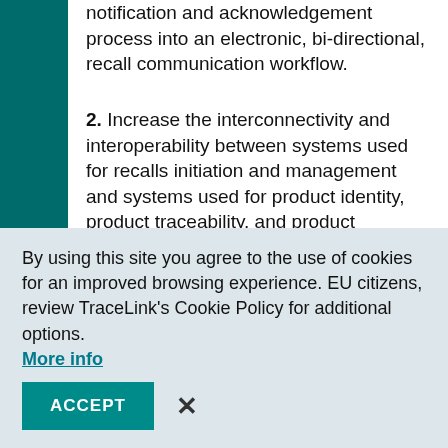notification and acknowledgement process into an electronic, bi-directional, recall communication workflow.
2. Increase the interconnectivity and interoperability between systems used for recalls initiation and management and systems used for product identity, product traceability, and product inventory management.
3. Develop a network shared data model for recalls that would leverage DSCSA-driven data—such as lot-level transaction information and the serialized product identifier—and integrate it with information
By using this site you agree to the use of cookies for an improved browsing experience. EU citizens, review TraceLink's Cookie Policy for additional options. More info
ACCEPT  ×